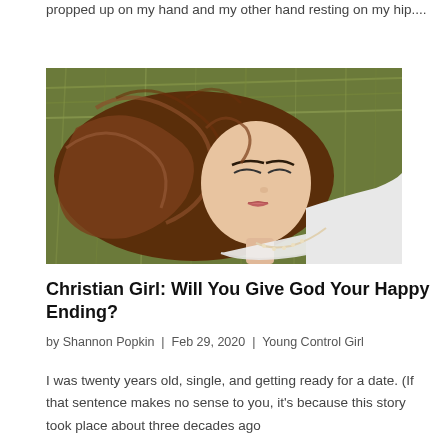propped up on my hand and my other hand resting on my hip....
[Figure (photo): Aerial view of a young woman with long auburn curly hair lying in grass or hay, wearing a white dress, eyes closed]
Christian Girl: Will You Give God Your Happy Ending?
by Shannon Popkin | Feb 29, 2020 | Young Control Girl
I was twenty years old, single, and getting ready for a date. (If that sentence makes no sense to you, it's because this story took place about three decades ago